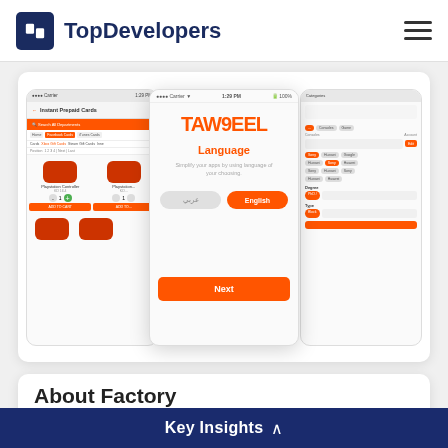TopDevelopers
[Figure (screenshot): Mobile app screenshots showing Taw9eel e-commerce app with product listings (PlayStation controllers), language selection screen (Arabic/English), and filter/category screen with orange UI elements.]
About Factory
We design and develop Native mobile & web
Key Insights ^